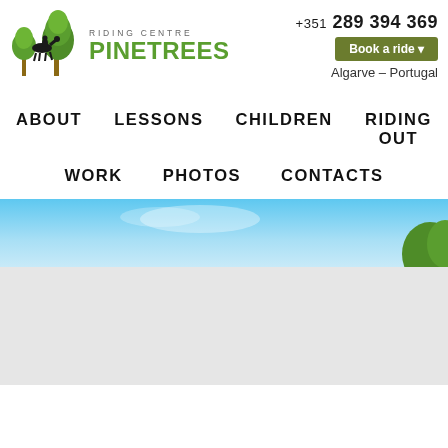[Figure (logo): Riding Centre Pinetrees logo: silhouette of horse and rider with green trees, green PINETREES text]
+351 289 394 369
Book a ride ▾
Algarve – Portugal
ABOUT   LESSONS   CHILDREN   RIDING OUT
WORK   PHOTOS   CONTACTS
[Figure (photo): Partial hero banner image showing blue sky and green trees at the top]